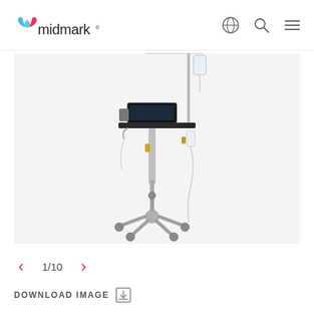midmark
[Figure (photo): Midmark medical cart/workstation on wheels with adjustable pole, IV stand, laptop/monitor on dark shelf, and fluid bag with tubing. The cart has a five-wheeled base and telescoping pole.]
1/10
DOWNLOAD IMAGE